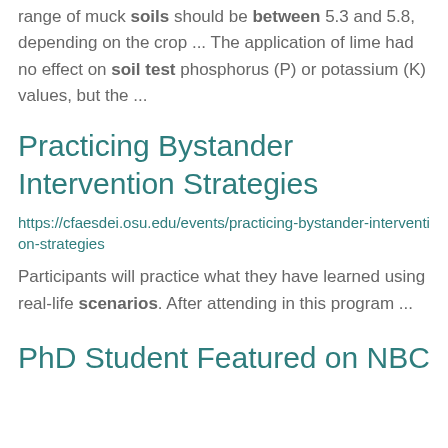range of muck soils should be between 5.3 and 5.8, depending on the crop ... The application of lime had no effect on soil test phosphorus (P) or potassium (K) values, but the ...
Practicing Bystander Intervention Strategies
https://cfaesdei.osu.edu/events/practicing-bystander-intervention-strategies
Participants will practice what they have learned using real-life scenarios. After attending in this program ...
PhD Student Featured on NBC